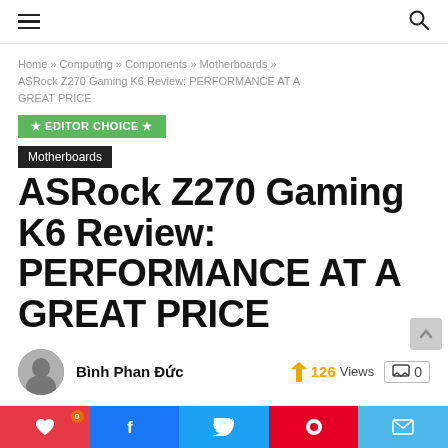≡ [hamburger menu] [search icon]
Home » Computing » Components » Motherboards » ASRock Z270 Gaming K6 Review: PERFORMANCE AT A GREAT PRICE
★ EDITOR CHOICE ★
Motherboards
ASRock Z270 Gaming K6 Review: PERFORMANCE AT A GREAT PRICE
Bình Phan Đức  ⚡ 126 Views  💬 0